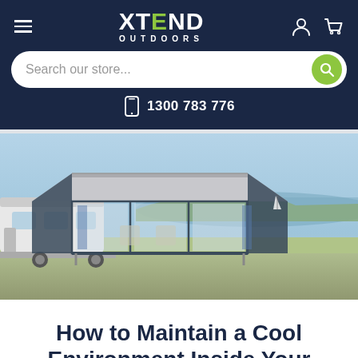[Figure (logo): Xtend Outdoors logo with hamburger menu, user icon, and cart icon on dark navy background]
[Figure (screenshot): Search bar with 'Search our store...' placeholder and green search button]
1300 783 776
[Figure (photo): Caravan with large grey awning/annex set up near a lake or coastal area on a sunny day]
How to Maintain a Cool Environment Inside Your